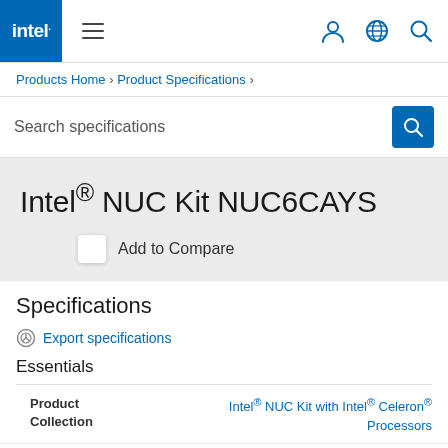intel. ≡  [user icon] [globe icon] [search icon]
Products Home › Product Specifications ›
Search specifications
Intel® NUC Kit NUC6CAYS
Add to Compare
Specifications
Export specifications
Essentials
| Product Collection |  |
| --- | --- |
| Product Collection | Intel® NUC Kit with Intel® Celeron® Processors |